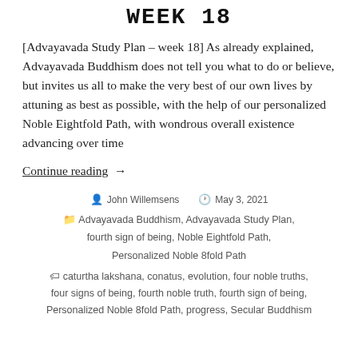WEEK 18
[Advayavada Study Plan – week 18] As already explained, Advayavada Buddhism does not tell you what to do or believe, but invites us all to make the very best of our own lives by attuning as best as possible, with the help of our personalized Noble Eightfold Path, with wondrous overall existence advancing over time
Continue reading  →
John Willemsens  May 3, 2021  Advayavada Buddhism, Advayavada Study Plan, fourth sign of being, Noble Eightfold Path, Personalized Noble 8fold Path  caturtha lakshana, conatus, evolution, four noble truths, four signs of being, fourth noble truth, fourth sign of being, Personalized Noble 8fold Path, progress, Secular Buddhism